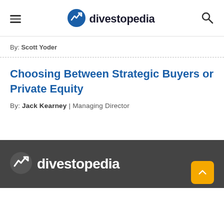divestopedia
By: Scott Yoder
Choosing Between Strategic Buyers or Private Equity
By: Jack Kearney | Managing Director
divestopedia